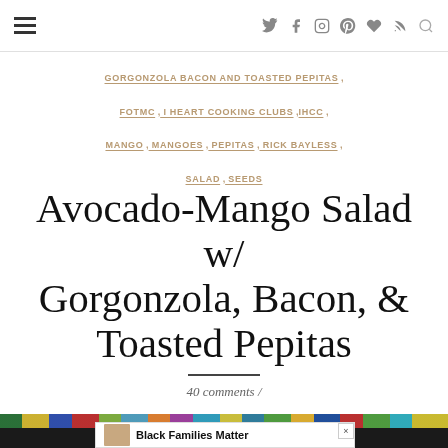Navigation bar with hamburger menu and social icons
GORGONZOLA BACON AND TOASTED PEPITAS , FOTMC , I HEART COOKING CLUBS , IHCC , MANGO , MANGOES , PEPITAS , RICK BAYLESS , SALAD , SEEDS
Avocado-Mango Salad w/ Gorgonzola, Bacon, & Toasted Pepitas
40 comments /
[Figure (photo): Colorful food photo at bottom of page, partially visible]